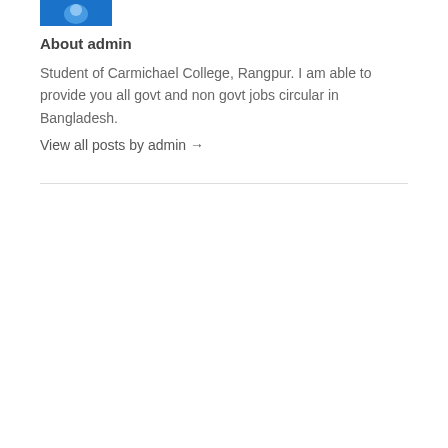[Figure (logo): Blue avatar/logo image at top left]
About admin
Student of Carmichael College, Rangpur. I am able to provide you all govt and non govt jobs circular in Bangladesh.
View all posts by admin →